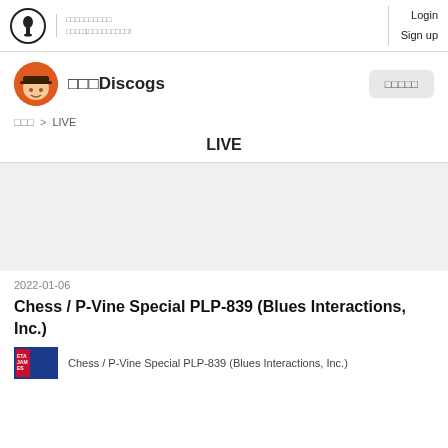Login  Sign up
□□□Discogs
□□□ > LIVE
LIVE
[Figure (other): Gray placeholder area]
2022-01-06
Chess / P-Vine Special PLP-839 (Blues Interactions, Inc.)
Chess / P-Vine Special PLP-839 (Blues Interactions, Inc.)